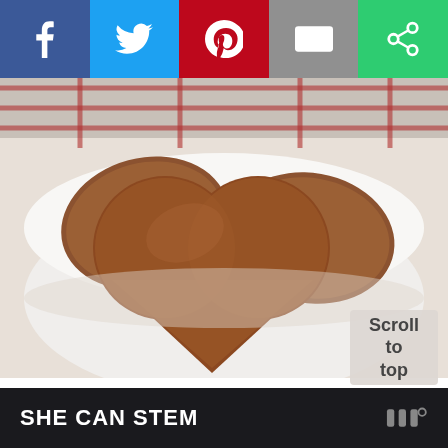[Figure (other): Social media sharing bar with five buttons: Facebook (blue), Twitter (light blue), Pinterest (red), Email (gray), Share (green), each with white icons]
[Figure (photo): Close-up photo of heart-shaped gingerbread/spice cookies in a white bowl on a red and white checkered cloth background]
Scroll to top
SHE CAN STEM